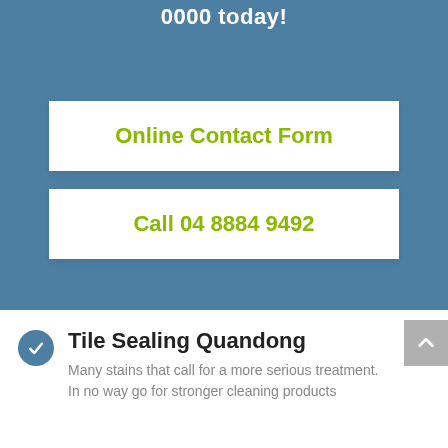0000 today!
Online Contact Form
Call 04 8884 9492
Tile Sealing Quandong
Many stains that call for a more serious treatment. In no way go for stronger cleaning products